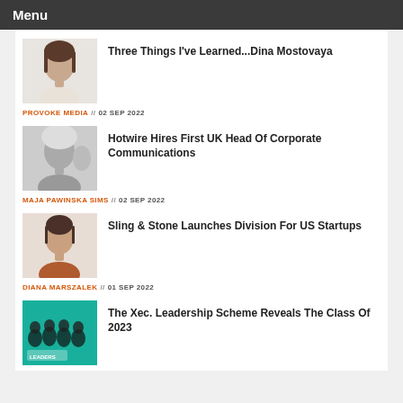Menu
[Figure (photo): Portrait photo of a woman with dark hair, smiling, white background]
Three Things I've Learned...Dina Mostovaya
PROVOKE MEDIA // 02 SEP 2022
[Figure (photo): Black and white portrait photo of a smiling blonde woman]
Hotwire Hires First UK Head Of Corporate Communications
MAJA PAWINSKA SIMS // 02 SEP 2022
[Figure (photo): Color portrait of a woman with dark hair in an orange/rust jacket]
Sling & Stone Launches Division For US Startups
DIANA MARSZALEK // 01 SEP 2022
[Figure (photo): Group photo of women on a teal background with text overlay]
The Xec. Leadership Scheme Reveals The Class Of 2023